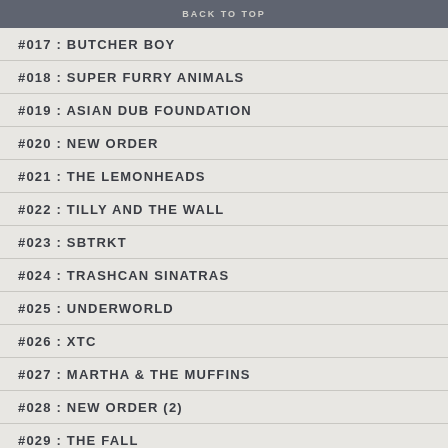BACK TO TOP
#017 : BUTCHER BOY
#018 : SUPER FURRY ANIMALS
#019 : ASIAN DUB FOUNDATION
#020 : NEW ORDER
#021 : THE LEMONHEADS
#022 : TILLY AND THE WALL
#023 : SBTRKT
#024 : TRASHCAN SINATRAS
#025 : UNDERWORLD
#026 : XTC
#027 : MARTHA & THE MUFFINS
#028 : NEW ORDER (2)
#029 : THE FALL